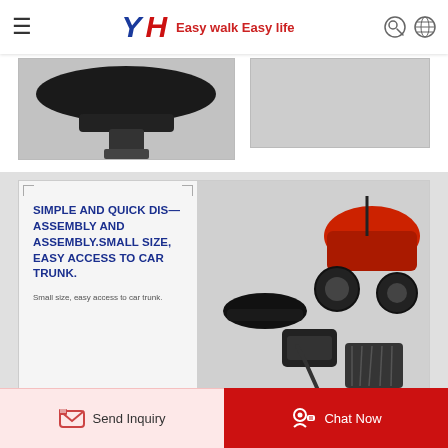YH Easy walk Easy life
[Figure (photo): Partial product photo showing underside of a mobility scooter seat, top strip]
[Figure (photo): Partial photo of a gray panel on the right side of the top strip]
[Figure (photo): Left panel with text overlay: SIMPLE AND QUICK DIS-ASSEMBLY AND ASSEMBLY. SMALL SIZE, EASY ACCESS TO CAR TRUNK. Small size, easy access to car trunk.]
[Figure (photo): Right panel showing disassembled red mobility scooter parts including seat, frame, tires, basket, and hex wrench]
SIMPLE AND QUICK DIS—ASSEMBLY AND ASSEMBLY.SMALL SIZE, EASY ACCESS TO CAR TRUNK.
Small size, easy access to car trunk.
Send Inquiry
Chat Now